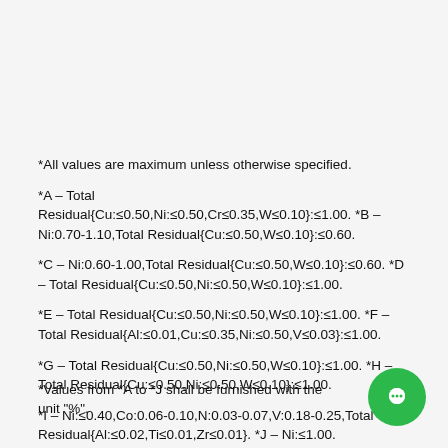*All values are maximum unless otherwise specified.
*A – Total Residual{Cu:≤0.50,Ni:≤0.50,Cr≤0.35,W≤0.10}:≤1.00. *B – Ni:0.70-1.10,Total Residual{Cu:≤0.50,W≤0.10}:≤0.60.
*C – Ni:0.60-1.00,Total Residual{Cu:≤0.50,W≤0.10}:≤0.60. *D – Total Residual{Cu:≤0.50,Ni:≤0.50,W≤0.10}:≤1.00.
*E – Total Residual{Cu:≤0.50,Ni:≤0.50,W≤0.10}:≤1.00. *F – Total Residual{Al:≤0.01,Cu:≤0.35,Ni:≤0.50,V≤0.03}:≤1.00.
*G – Total Residual{Cu:≤0.50,Ni:≤0.50,W≤0.10}:≤1.00. *H – Total Residual{Cu:≤0.50,Ni:≤0.50,W≤0.10}:≤1.00.
*I – Ni:≤0.40,Co:0.06-0.10,N:0.03-0.07,V:0.18-0.25,Total Residual{Al:≤0.02,Ti≤0.01,Zr≤0.01}. *J – Ni:≤1.00.
*Values from *A to *J shall be furnished with the unit "%".